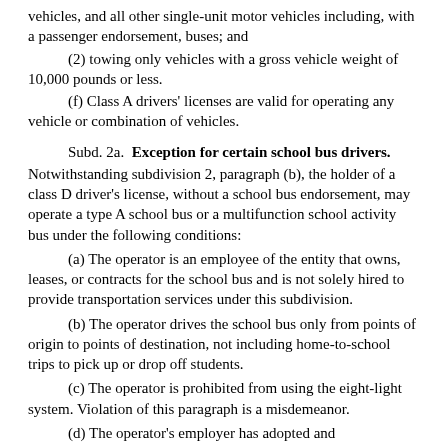vehicles, and all other single-unit motor vehicles including, with a passenger endorsement, buses; and
(2) towing only vehicles with a gross vehicle weight of 10,000 pounds or less.
(f) Class A drivers' licenses are valid for operating any vehicle or combination of vehicles.
Subd. 2a.  Exception for certain school bus drivers.
Notwithstanding subdivision 2, paragraph (b), the holder of a class D driver's license, without a school bus endorsement, may operate a type A school bus or a multifunction school activity bus under the following conditions:
(a) The operator is an employee of the entity that owns, leases, or contracts for the school bus and is not solely hired to provide transportation services under this subdivision.
(b) The operator drives the school bus only from points of origin to points of destination, not including home-to-school trips to pick up or drop off students.
(c) The operator is prohibited from using the eight-light system. Violation of this paragraph is a misdemeanor.
(d) The operator's employer has adopted and